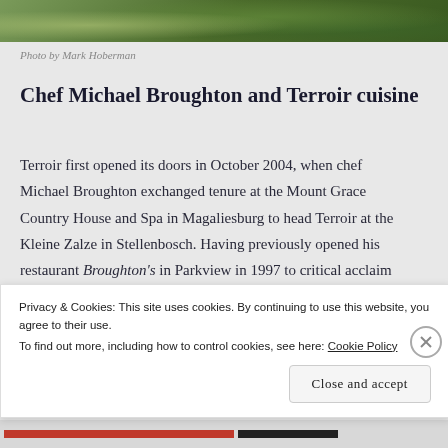[Figure (photo): Partial view of outdoor/garden photo, cropped at top, showing green foliage and sunlight]
Photo by Mark Hoberman
Chef Michael Broughton and Terroir cuisine
Terroir first opened its doors in October 2004, when chef Michael Broughton exchanged tenure at the Mount Grace Country House and Spa in Magaliesburg to head Terroir at the Kleine Zalze in Stellenbosch. Having previously opened his restaurant Broughton's in Parkview in 1997 to critical acclaim and garnered
Privacy & Cookies: This site uses cookies. By continuing to use this website, you agree to their use.
To find out more, including how to control cookies, see here: Cookie Policy
Close and accept